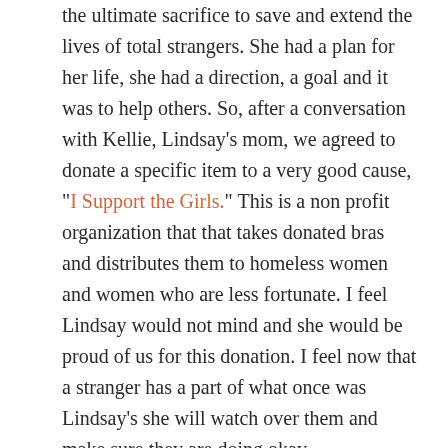the ultimate sacrifice to save and extend the lives of total strangers. She had a plan for her life, she had a direction, a goal and it was to help others. So, after a conversation with Kellie, Lindsay's mom, we agreed to donate a specific item to a very good cause, "I Support the Girls." This is a non profit organization that that takes donated bras and distributes them to homeless women and women who are less fortunate. I feel Lindsay would not mind and she would be proud of us for this donation. I feel now that a stranger has a part of what once was Lindsay's she will watch over them and make sure they are doing okay.
I had another situation over the weekend that threw me back a step or two. One of those situations that takes your breath away, and only you know why.  My wife Kelli and I, along with another couple, were in the lobby of a restaurant waiting to be seated when around the corner came Heather, who was Lindsay's best friend. With her